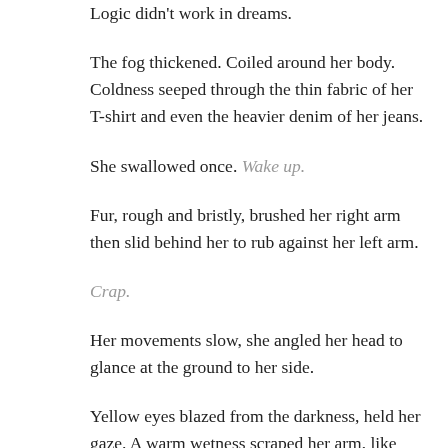Logic didn't work in dreams.
The fog thickened. Coiled around her body. Coldness seeped through the thin fabric of her T-shirt and even the heavier denim of her jeans.
She swallowed once. Wake up.
Fur, rough and bristly, brushed her right arm then slid behind her to rub against her left arm.
Crap.
Her movements slow, she angled her head to glance at the ground to her side.
Yellow eyes blazed from the darkness, held her gaze. A warm wetness scraped her arm, like damp sandpaper. Or a big